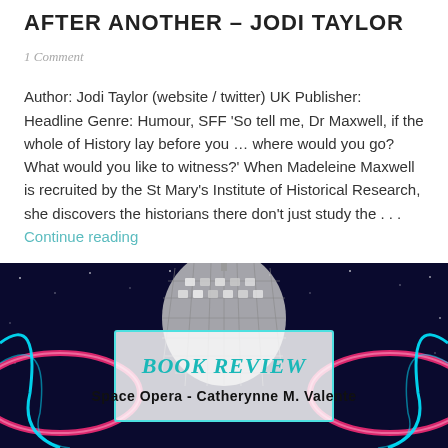AFTER ANOTHER – JODI TAYLOR
1 Comment
Author: Jodi Taylor (website / twitter) UK Publisher: Headline Genre: Humour, SFF 'So tell me, Dr Maxwell, if the whole of History lay before you … where would you go? What would you like to witness?' When Madeleine Maxwell is recruited by the St Mary's Institute of Historical Research, she discovers the historians there don't just study the . . .
[Figure (illustration): Book review banner image with disco ball and neon lights background. Contains text 'BOOK REVIEW' in teal handwritten style and 'Space Opera - Catherynne M. Valente' in black bold text on a semi-transparent white rectangle.]